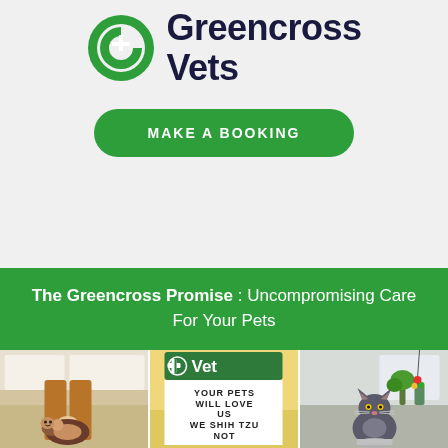[Figure (logo): Greencross Vets logo with green circular G+ icon and dark navy text reading Greencross Vets]
[Figure (other): Green rounded rectangle button with white uppercase text MAKE A BOOKING]
The Greencross Promise : Uncompromising Care For Your Pets
[Figure (photo): Three photos side by side: left shows a person crouching near a cat on the floor, center shows a green vet sign reading YOUR PETS WILL LOVE US WE SHIH TZU NOT, right shows a grey cat looking up at a colorful toy]